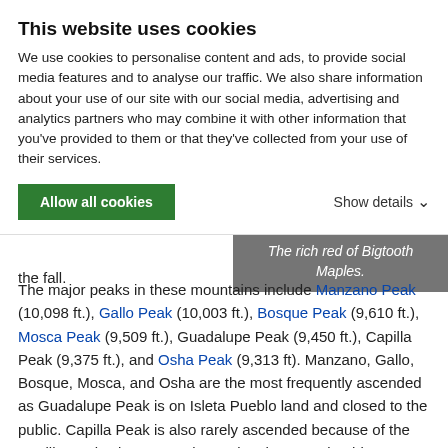This website uses cookies
We use cookies to personalise content and ads, to provide social media features and to analyse our traffic. We also share information about your use of our site with our social media, advertising and analytics partners who may combine it with other information that you've provided to them or that they've collected from your use of their services.
Allow all cookies
Show details
the fall.
The rich red of Bigtooth Maples.
The major peaks in these mountains include Manzano Peak (10,098 ft.), Gallo Peak (10,003 ft.), Bosque Peak (9,610 ft.), Mosca Peak (9,509 ft.), Guadalupe Peak (9,450 ft.), Capilla Peak (9,375 ft.), and Osha Peak (9,313 ft). Manzano, Gallo, Bosque, Mosca, and Osha are the most frequently ascended as Guadalupe Peak is on Isleta Pueblo land and closed to the public. Capilla Peak is also rarely ascended because of the Capilla Peak Observatory located at the summit. This observatory boasts a 24 inch optical telescope owned by the Institute of Astrophysics at the University of